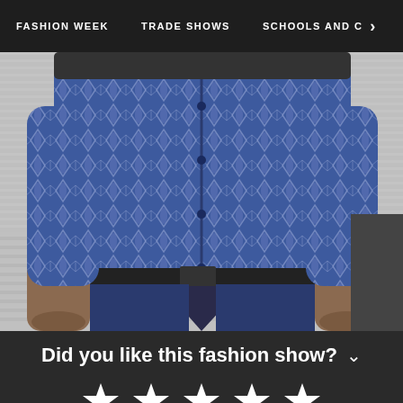FASHION WEEK   TRADE SHOWS   SCHOOLS AND C  >
[Figure (photo): Close-up photo of a male model wearing a blue patterned shirt with geometric/leaf print, black belt, and blue trousers at a fashion show runway]
Did you like this fashion show?
[Figure (infographic): Five white star rating icons for user rating input]